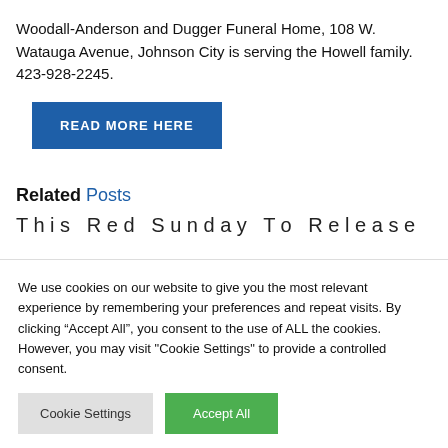Woodall-Anderson and Dugger Funeral Home, 108 W. Watauga Avenue, Johnson City is serving the Howell family. 423-928-2245.
READ MORE HERE
Related Posts
This Red Sunday To Release 90th...
We use cookies on our website to give you the most relevant experience by remembering your preferences and repeat visits. By clicking "Accept All", you consent to the use of ALL the cookies. However, you may visit "Cookie Settings" to provide a controlled consent.